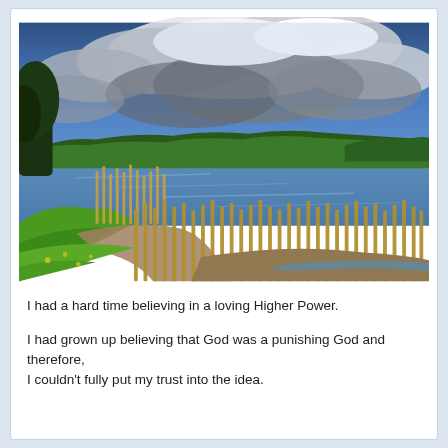[Figure (photo): Landscape photo of a lake or river shoreline with tall golden reeds/grasses along a gravel path edged by green grass in the foreground. Blue rippling water in the middle ground, green tree-covered hills in the background, and a dramatic sky with large white and dark grey storm clouds above.]
I had a hard time believing in a loving Higher Power.
I had grown up believing that God was a punishing God and therefore, I couldn't fully put my trust into the idea.